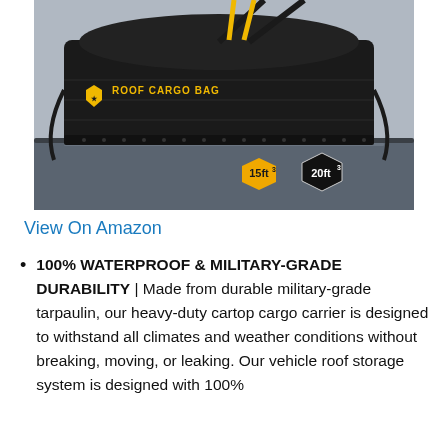[Figure (photo): Black roof cargo bag on top of a car, with a yellow brand shield logo reading 'ROOF CARGO BAG'. Two size badges shown: a gold hexagon with '15ft³' and a black hexagon with '20ft³'. Straps visible.]
View On Amazon
100% WATERPROOF & MILITARY-GRADE DURABILITY | Made from durable military-grade tarpaulin, our heavy-duty cartop cargo carrier is designed to withstand all climates and weather conditions without breaking, moving, or leaking. Our vehicle roof storage system is designed with 100%